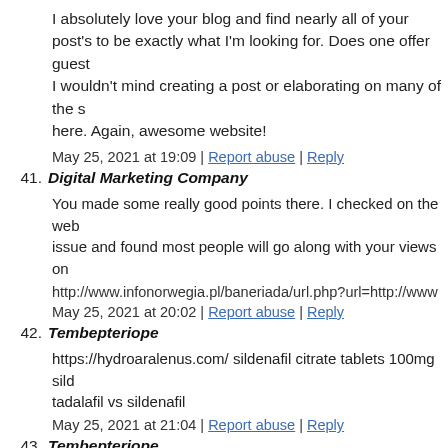I absolutely love your blog and find nearly all of your post's to be exactly what I'm looking for. Does one offer guest I wouldn't mind creating a post or elaborating on many of the s here. Again, awesome website!
May 25, 2021 at 19:09 | Report abuse | Reply
41. Digital Marketing Company
You made some really good points there. I checked on the web issue and found most people will go along with your views on
http://www.infonorwegia.pl/baneriada/url.php?url=http://www
May 25, 2021 at 20:02 | Report abuse | Reply
42. Tembepteriope
https://hydroaralenus.com/ sildenafil citrate tablets 100mg sild tadalafil vs sildenafil
May 25, 2021 at 21:04 | Report abuse | Reply
43. Tembepteriope
what is sildenafil citrate sildenafil side effects sildenafil brand
May 25, 2021 at 22:04 | Report abuse | Reply